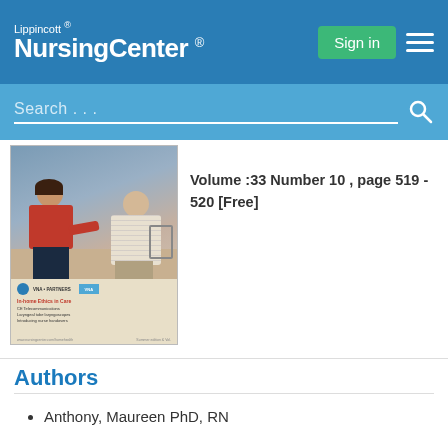Lippincott® NursingCenter®
Volume :33 Number 10 , page 519 - 520 [Free]
[Figure (photo): Journal cover showing a female nurse in red top crouching to speak with an elderly male patient, with journal branding and text at the bottom.]
Authors
Anthony, Maureen PhD, RN